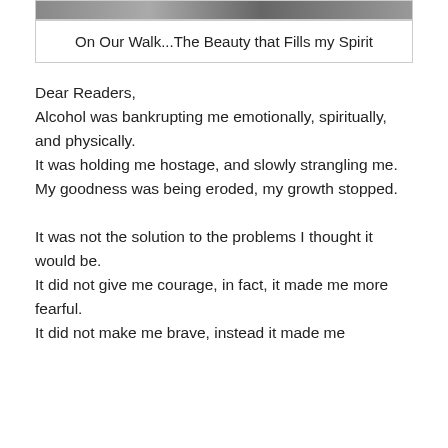[Figure (photo): Partial photo of a nature/walk scene visible at top of page]
On Our Walk...The Beauty that Fills my Spirit
Dear Readers,
Alcohol was bankrupting me emotionally, spiritually, and physically.
It was holding me hostage, and slowly strangling me.
My goodness was being eroded, my growth stopped.

It was not the solution to the problems I thought it would be.
It did not give me courage, in fact, it made me more fearful.
It did not make me brave, instead it made me